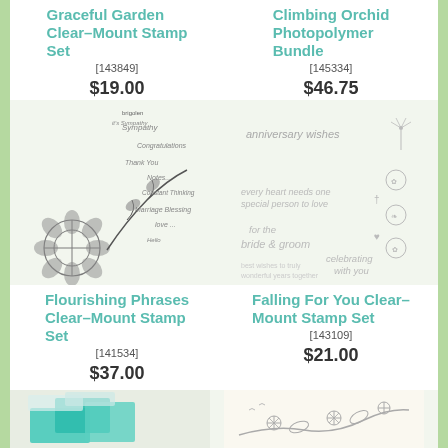Graceful Garden Clear-Mount Stamp Set
[143849]
$19.00
Climbing Orchid Photopolymer Bundle
[145334]
$46.75
[Figure (photo): Graceful Garden stamp set showing floral and sentiment stamps including sympathy, thank you, congratulations, marriage, and decorative flower/leaf designs]
[Figure (photo): Climbing Orchid stamp set showing anniversary wishes, bride and groom sentiments, and small floral/nature stamps]
Flourishing Phrases Clear-Mount Stamp Set
[141534]
$37.00
Falling For You Clear-Mount Stamp Set
[143109]
$21.00
[Figure (photo): Teal/turquoise colored stamp blocks or accessories]
[Figure (photo): Falling For You stamp set showing snowflake/flower branch stamp design on cream background]